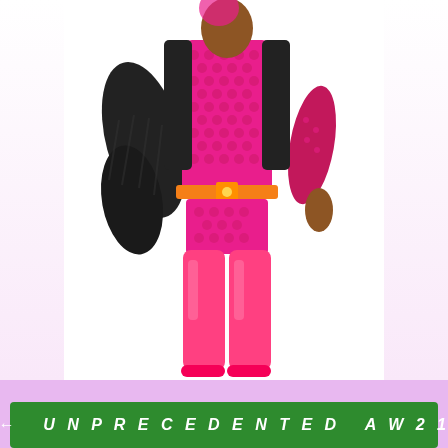[Figure (photo): Back view of a fashion doll wearing a hot pink fishnet/dotted bodysuit, neon pink thigh-high boots, a black faux fur jacket, and a yellow belt. The background is white to light pink gradient.]
← UNPRECEDENTED AW21